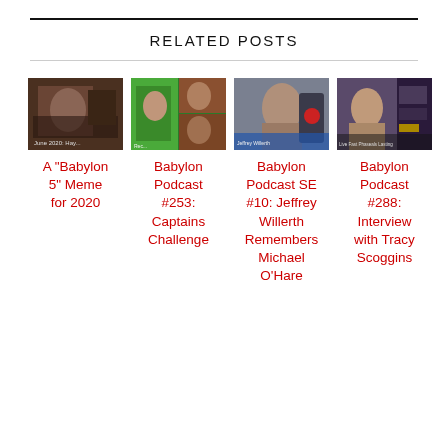RELATED POSTS
[Figure (photo): Thumbnail image for A Babylon 5 Meme for 2020 post]
A “Babylon 5” Meme for 2020
[Figure (photo): Thumbnail image for Babylon Podcast #253: Captains Challenge post]
Babylon Podcast #253: Captains Challenge
[Figure (photo): Thumbnail image for Babylon Podcast SE #10: Jeffrey Willerth Remembers Michael O’Hare post]
Babylon Podcast SE #10: Jeffrey Willerth Remembers Michael O’Hare
[Figure (photo): Thumbnail image for Babylon Podcast #288: Interview with Tracy Scoggins post]
Babylon Podcast #288: Interview with Tracy Scoggins